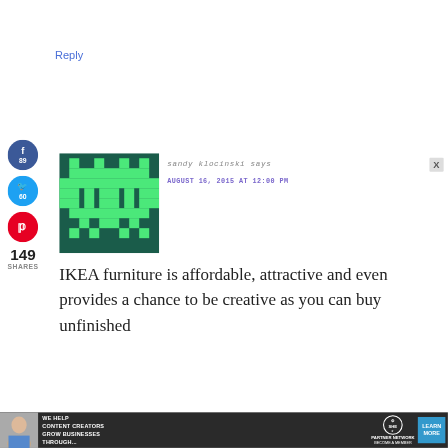Reply
[Figure (illustration): Social sharing sidebar with Facebook (89), Twitter (60), and Pinterest buttons]
[Figure (photo): Pixel art avatar - green and dark teal space invader style character on dark green background]
sandy klocinski says
AUGUST 16, 2015 AT 12:00 PM
149
SHARES
IKEA furniture is affordable, attractive and even provides a chance to be creative as you can buy unfinished
[Figure (infographic): SHE Partner Network advertisement banner: We help content creators grow businesses through... Learn More]